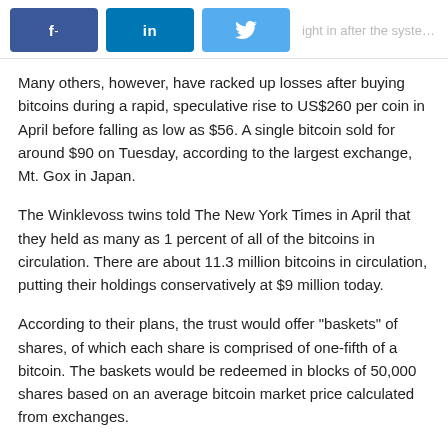f -  in  [twitter]  ...ight in after the system launched
Many others, however, have racked up losses after buying bitcoins during a rapid, speculative rise to US$260 per coin in April before falling as low as $56. A single bitcoin sold for around $90 on Tuesday, according to the largest exchange, Mt. Gox in Japan.
The Winklevoss twins told The New York Times in April that they held as many as 1 percent of all of the bitcoins in circulation. There are about 11.3 million bitcoins in circulation, putting their holdings conservatively at $9 million today.
According to their plans, the trust would offer "baskets" of shares, of which each share is comprised of one-fifth of a bitcoin. The baskets would be redeemed in blocks of 50,000 shares based on an average bitcoin market price calculated from exchanges.
Send news tips and comments to jeremy_kirk@idg.com. Follow me on Twitter: @jeremy_kirk